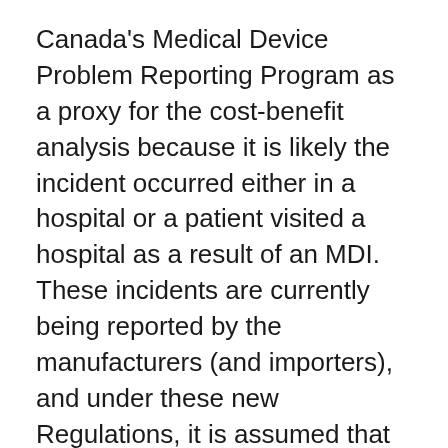Canada's Medical Device Problem Reporting Program as a proxy for the cost-benefit analysis because it is likely the incident occurred either in a hospital or a patient visited a hospital as a result of an MDI. These incidents are currently being reported by the manufacturers (and importers), and under these new Regulations, it is assumed that at least this many incidents will be reported by the hospitals.
Costs to hospitals
The regulations place the responsibility of